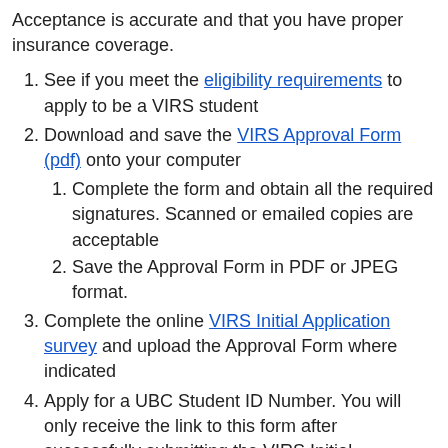Acceptance is accurate and that you have proper insurance coverage.
See if you meet the eligibility requirements to apply to be a VIRS student
Download and save the VIRS Approval Form (pdf) onto your computer
Complete the form and obtain all the required signatures. Scanned or emailed copies are acceptable
Save the Approval Form in PDF or JPEG format.
Complete the online VIRS Initial Application survey and upload the Approval Form where indicated
Apply for a UBC Student ID Number. You will only receive the link to this form after successfully submitting the VIRS Initial Application
Create your Campus Wide Login (CWL) account